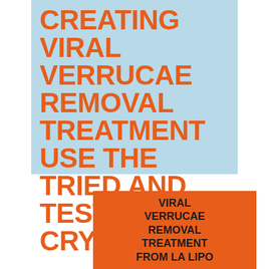CREATING VIRAL VERRUCAE REMOVAL TREATMENT USE THE TRIED AND TESTED CRYOPEN
VIRAL VERRUCAE REMOVAL TREATMENT FROM LA LIPO